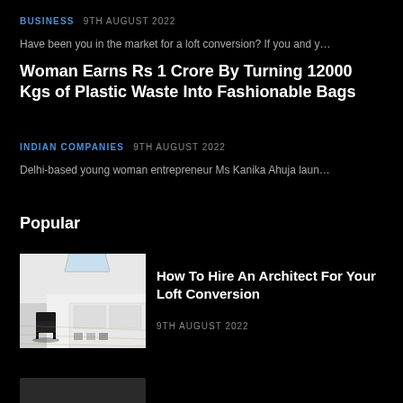BUSINESS  9TH AUGUST 2022
Have been you in the market for a loft conversion? If you and y…
Woman Earns Rs 1 Crore By Turning 12000 Kgs of Plastic Waste Into Fashionable Bags
INDIAN COMPANIES  9TH AUGUST 2022
Delhi-based young woman entrepreneur Ms Kanika Ahuja laun…
Popular
[Figure (photo): Interior photo of a loft conversion showing white walls, sloped ceiling with skylight, a black chair, and wooden floor]
How To Hire An Architect For Your Loft Conversion
9TH AUGUST 2022